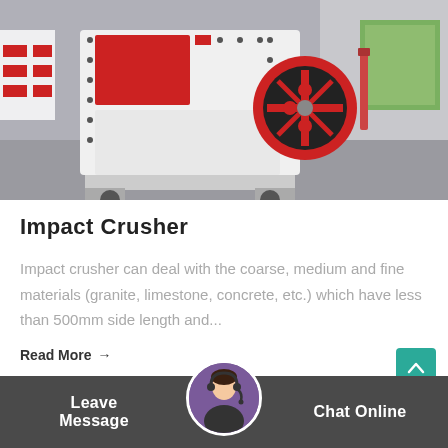[Figure (photo): Photo of a white and red impact crusher machine with black rubber wheel and conveyor belt components, shown in an industrial factory setting]
Impact Crusher
Impact crusher can deal with the coarse, medium and fine materials (granite, limestone, concrete, etc.) which have less than 500mm side length and...
Read More →
Leave Message    Chat Online